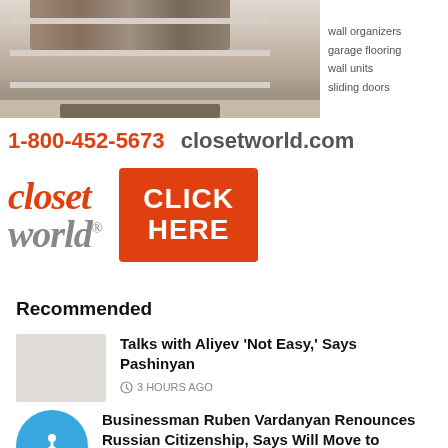[Figure (photo): Photo of an organized walk-in closet with shelves, hanging clothes, and flooring, alongside a list of services: wall organizers, garage flooring, wall units, sliding doors]
1-800-452-5673  closetworld.com
[Figure (logo): Closet World logo with brand name in italic red (closet) and gray (world), plus orange-red CLICK HERE button]
Recommended
Talks with Aliyev 'Not Easy,' Says Pashinyan
3 HOURS AGO
Businessman Ruben Vardanyan Renounces Russian Citizenship, Says Will Move to Artsakh
3 HOURS AGO